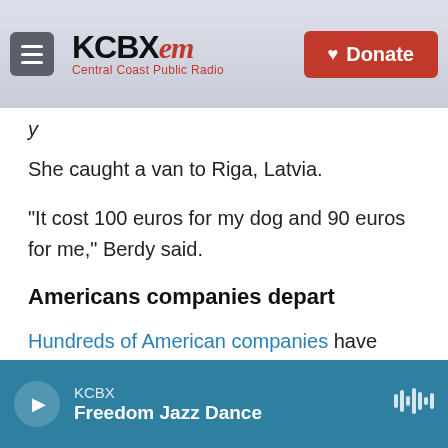KCBX FM — Central Coast Public Radio | Donate
y
She caught a van to Riga, Latvia.
"It cost 100 euros for my dog and 90 euros for me," Berdy said.
Americans companies depart
Hundreds of American companies have either suspended operations in Russia, or are pulling out altogether. Dale Buckner is helping some of them.
Buckner is the CEO of Global Guardian, which has chartered four flights out of Moscow to Turkey to
KCBX — Freedom Jazz Dance